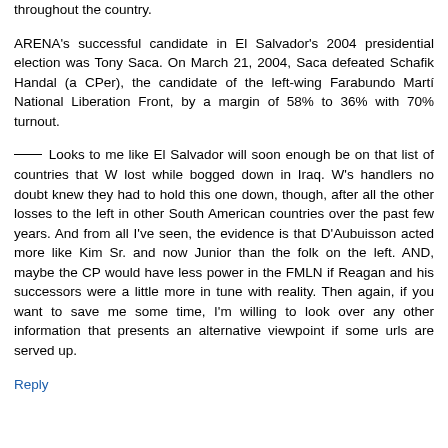throughout the country.
ARENA's successful candidate in El Salvador's 2004 presidential election was Tony Saca. On March 21, 2004, Saca defeated Schafik Handal (a CPer), the candidate of the left-wing Farabundo Martí National Liberation Front, by a margin of 58% to 36% with 70% turnout.
___ Looks to me like El Salvador will soon enough be on that list of countries that W lost while bogged down in Iraq. W's handlers no doubt knew they had to hold this one down, though, after all the other losses to the left in other South American countries over the past few years. And from all I've seen, the evidence is that D'Aubuisson acted more like Kim Sr. and now Junior than the folk on the left. AND, maybe the CP would have less power in the FMLN if Reagan and his successors were a little more in tune with reality. Then again, if you want to save me some time, I'm willing to look over any other information that presents an alternative viewpoint if some urls are served up.
Reply